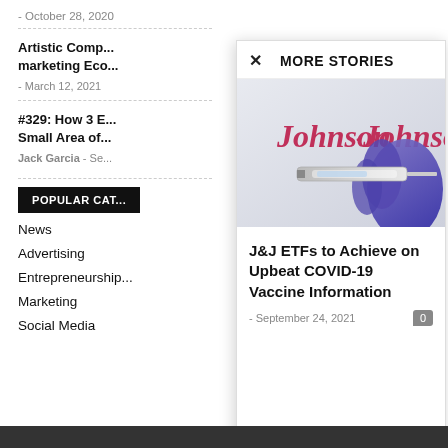- October 28, 2020
Artistic Comp... marketing Eco...
- March 12, 2021
#329: How 3 E... Small Area of...
Jack Garcia - Se...
POPULAR CAT...
News
Advertising
Entrepreneurship
Marketing
Social Media
MORE STORIES
[Figure (photo): Johnson & Johnson logo with a gloved hand holding a syringe/needle, purple medical glove, vaccine-related image]
J&J ETFs to Achieve on Upbeat COVID-19 Vaccine Information
- September 24, 2021